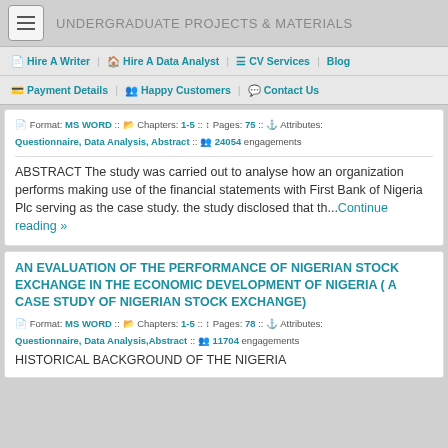UNDERGRADUATE PROJECTS & MATERIALS
Hire A Writer | Hire A Data Analyst | CV Services | Blog | Payment Details | Happy Customers | Contact Us
Format: MS WORD :: Chapters: 1-5 :: Pages: 75 :: Attributes: Questionnaire, Data Analysis, Abstract :: 24054 engagements
ABSTRACT The study was carried out to analyse how an organization performs making use of the financial statements with First Bank of Nigeria Plc serving as the case study. the study disclosed that th...Continue reading »
AN EVALUATION OF THE PERFORMANCE OF NIGERIAN STOCK EXCHANGE IN THE ECONOMIC DEVELOPMENT OF NIGERIA ( A CASE STUDY OF NIGERIAN STOCK EXCHANGE)
Format: MS WORD :: Chapters: 1-5 :: Pages: 78 :: Attributes: Questionnaire, Data Analysis,Abstract :: 11704 engagements
HISTORICAL BACKGROUND OF THE NIGERIA